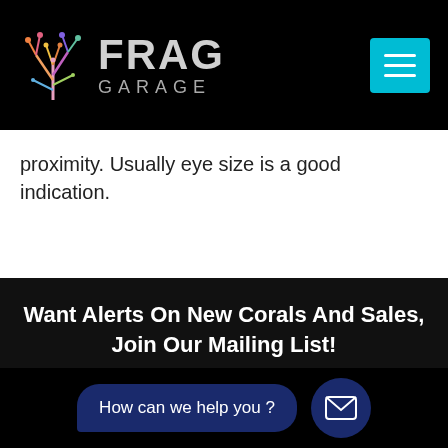[Figure (logo): Frag Garage logo with colorful coral illustration and stylized text 'FRAG GARAGE' in grey on black background, with a cyan hamburger menu button in the top right]
proximity. Usually eye size is a good indication.
Want Alerts On New Corals And Sales, Join Our Mailing List!
[Figure (other): Email subscription form with 'Your Email ID' placeholder and 'Subscribe Now' dark blue button]
[Figure (other): Chat widget with 'How can we help you?' speech bubble and dark blue envelope icon circle button]